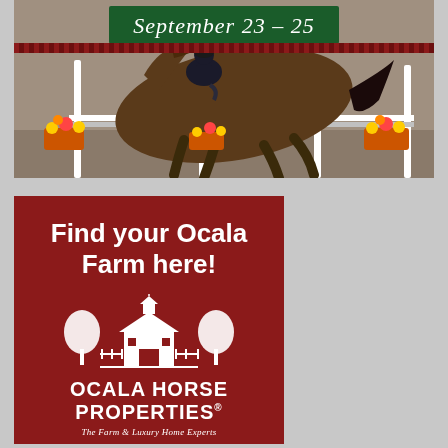[Figure (photo): Horse jumping over an obstacle at an equestrian event, with a dark green banner showing 'September 23 – 25' and a decorative red-striped band below it. Colorful flowers visible near the jump.]
[Figure (illustration): Advertisement for Ocala Horse Properties on a dark red background. Text reads 'Find your Ocala Farm here!' above a white logo illustration of a farm estate with trees and a barn with a weathervane. Below is 'OCALA HORSE PROPERTIES' in bold uppercase and tagline 'The Farm & Luxury Home Experts'.]